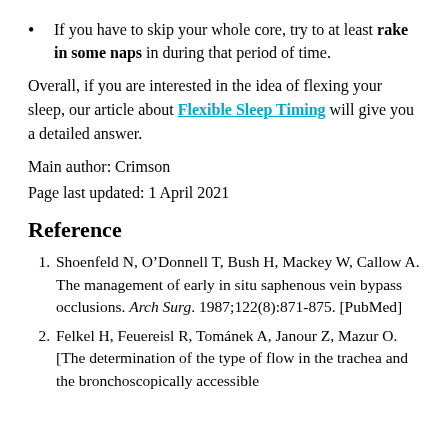If you have to skip your whole core, try to at least rake in some naps in during that period of time.
Overall, if you are interested in the idea of flexing your sleep, our article about Flexible Sleep Timing will give you a detailed answer.
Main author: Crimson
Page last updated: 1 April 2021
Reference
Shoenfeld N, O’Donnell T, Bush H, Mackey W, Callow A. The management of early in situ saphenous vein bypass occlusions. Arch Surg. 1987;122(8):871-875. [PubMed]
Felkel H, Feuereisl R, Tománek A, Janour Z, Mazur O. [The determination of the type of flow in the trachea and the bronchoscopically accessible